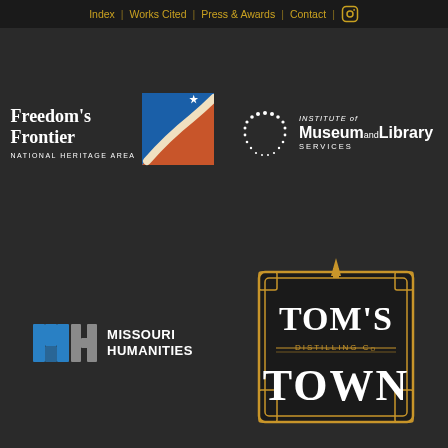Index | Works Cited | Press & Awards | Contact | [instagram]
[Figure (logo): Freedom's Frontier National Heritage Area logo with blue square and star icon]
[Figure (logo): Institute of Museum and Library Services logo with starburst pattern]
[Figure (logo): Missouri Humanities logo with MH monogram in blue and grey]
[Figure (logo): Tom's Town Distilling Co logo with ornate gold border on black background]